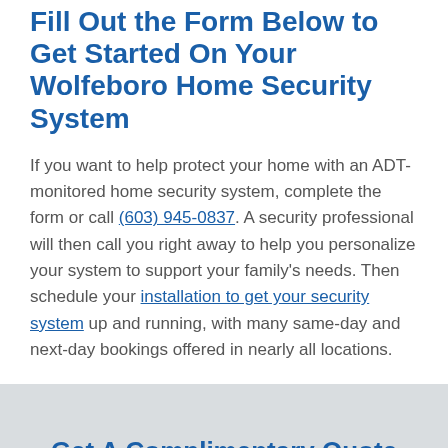Fill Out the Form Below to Get Started On Your Wolfeboro Home Security System
If you want to help protect your home with an ADT-monitored home security system, complete the form or call (603) 945-0837. A security professional will then call you right away to help you personalize your system to support your family's needs. Then schedule your installation to get your security system up and running, with many same-day and next-day bookings offered in nearly all locations.
Get A Complimentary Quote For Your Concord Home